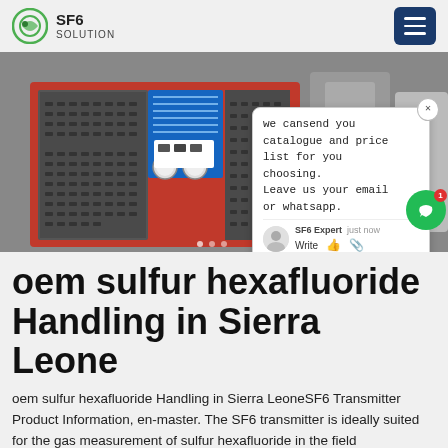SF6 SOLUTION
[Figure (photo): Industrial SF6 gas handling equipment — large red-framed machine with perforated metal panels, gauges, and blue compressor unit in a factory setting. A chat popup overlay is visible in the bottom-right of the image.]
oem sulfur hexafluoride Handling in Sierra Leone
oem sulfur hexafluoride Handling in Sierra LeoneSF6 Transmitter Product Information, en-master. The SF6 transmitter is ideally suited for the gas measurement of sulfur hexafluoride in the field